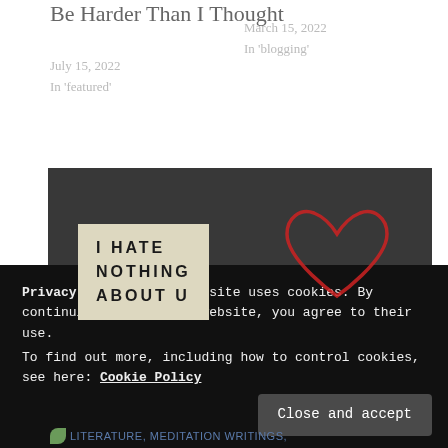Be Harder Than I Thought
July 15, 2022
In 'featured'
March 15, 2022
In 'blogging'
[Figure (photo): Dark background image with a lightbox sign reading 'I HATE NOTHING ABOUT U' and a red neon heart outline to the right]
Wife, Wifey, Bae, All Stupid Words That Don't Mean Shit To The Men Who Promise To Protect You
August 9, 2022
Privacy & Cookies: This site uses cookies. By continuing to use this website, you agree to their use.
To find out more, including how to control cookies, see here: Cookie Policy
Close and accept
LITERATURE, MEDITATION WRITINGS,